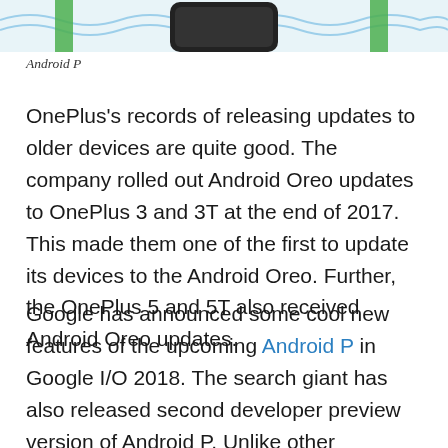[Figure (illustration): Partial top strip showing an Android P promotional illustration with a phone and decorative elements in green, blue and black on a light blue/white background.]
Android P
OnePlus's records of releasing updates to older devices are quite good. The company rolled out Android Oreo updates to OnePlus 3 and 3T at the end of 2017. This made them one of the first to update its devices to the Android Oreo. Further, the OnePlus 5 and 5T also received Android Oreo updates.
Google has announced some cool new features of the upcoming Android P in Google I/O 2018. The search giant has also released second developer preview version of Android P. Unlike other manufacturers, OnePlus runs an Open Beta Program which helps users to enjoy the up-to-date software. OnePlus tests the new software in the real world environment and